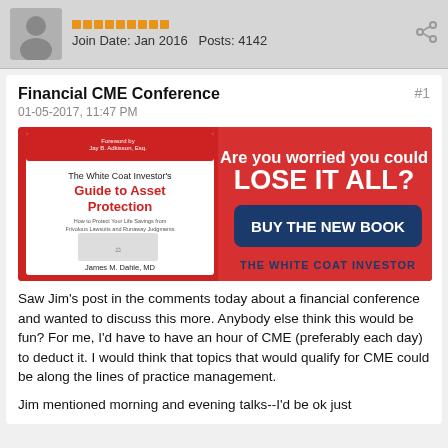Join Date: Jan 2016   Posts: 4142
Financial CME Conference
01-05-2017, 11:47 PM
#1
[Figure (illustration): Book advertisement banner for 'The White Coat Investor's Guide to Asset Protection' by James M. Dahle, MD. Red background with text 'Are you worried you could LOSE IT ALL?' and a dark blue button reading 'BUY THE NEW BOOK'. Bottom reads 'THE WHITE COAT INVESTOR'.]
Saw Jim's post in the comments today about a financial conference and wanted to discuss this more.  Anybody else think this would be fun?  For me, I'd have to have an hour of CME (preferably each day) to deduct it.  I would think that topics that would qualify for CME could be along the lines of practice management.
Jim mentioned morning and evening talks--I'd be ok just